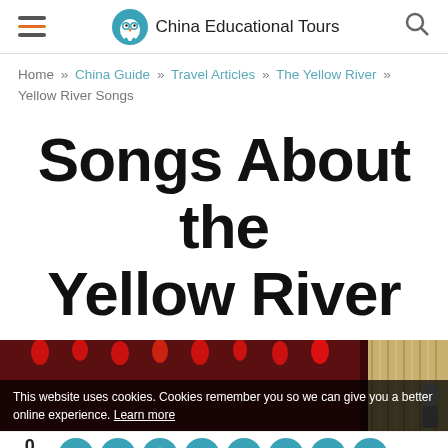China Educational Tours
Home » China Guide » Travel Articles » The Yellow River » Yellow River Songs
Songs About the Yellow River
[Figure (photo): Dark red stage with hanging red lanterns and curtains, person visible on right side. Cookie notice overlay: 'This website uses cookies. Cookies remember you so we can give you a better online experience. Learn more']
0 SHARES